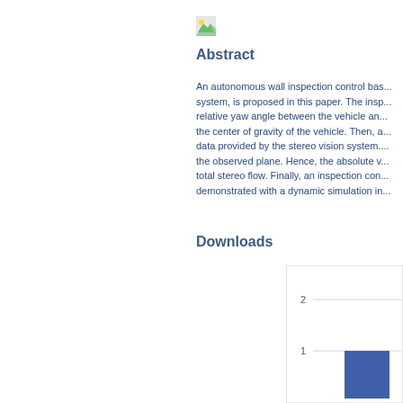[Figure (logo): Small image/logo icon in top area]
Abstract
An autonomous wall inspection control bas... system, is proposed in this paper. The insp... relative yaw angle between the vehicle an... the center of gravity of the vehicle. Then, a... data provided by the stereo vision system.... the observed plane. Hence, the absolute v... total stereo flow. Finally, an inspection con... demonstrated with a dynamic simulation in...
Downloads
[Figure (bar-chart): Downloads]